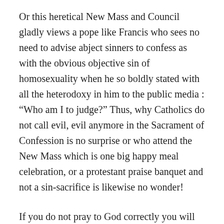Or this heretical New Mass and Council gladly views a pope like Francis who sees no need to advise abject sinners to confess as with the obvious objective sin of homosexuality when he so boldly stated with all the heterodoxy in him to the public media : “Who am I to judge?” Thus, why Catholics do not call evil, evil anymore in the Sacrament of Confession is no surprise or who attend the New Mass which is one big happy meal celebration, or a protestant praise banquet and not a sin-sacrifice is likewise no wonder!
If you do not pray to God correctly you will